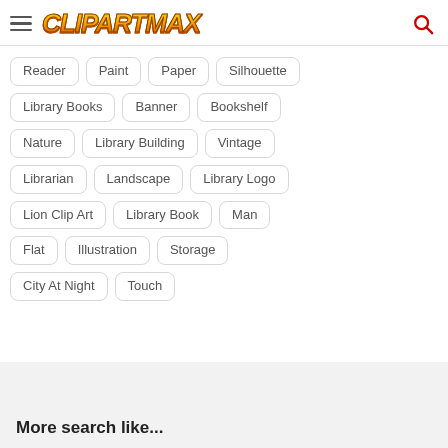ClipartMax
Reader
Paint
Paper
Silhouette
Library Books
Banner
Bookshelf
Nature
Library Building
Vintage
Librarian
Landscape
Library Logo
Lion Clip Art
Library Book
Man
Flat
Illustration
Storage
City At Night
Touch
More search like...